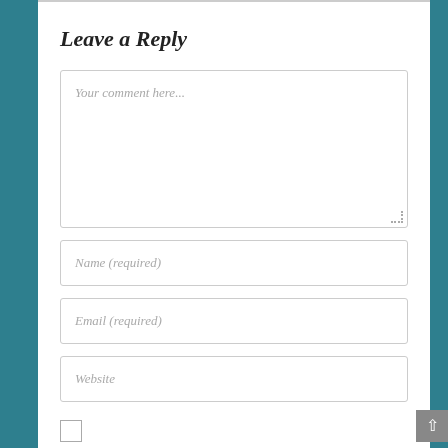Leave a Reply
Your comment here...
Name (required)
Email (required)
Website